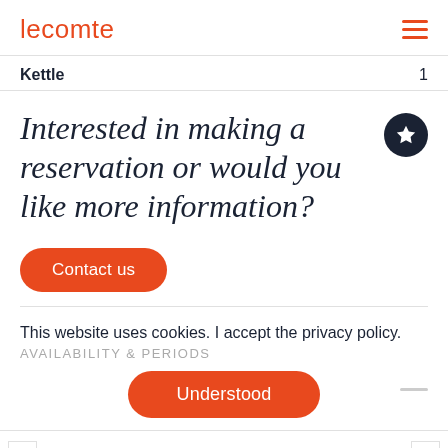lecomte
Kettle 1
Interested in making a reservation or would you like more information?
Contact us
This website uses cookies. I accept the privacy policy.
AVAILABILITY & PERIODS
Understood
September 2022